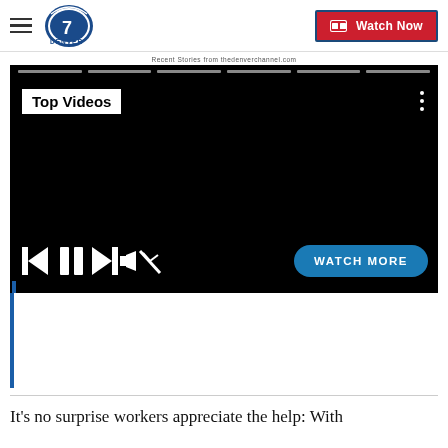Denver7 — Watch Now
Recent Stories from thedenverchannel.com
[Figure (screenshot): Embedded video player with black background showing 'Top Videos' label, playback controls (skip back, pause, skip forward, mute) and a 'WATCH MORE' button. Progress bar segments visible at the top.]
It's no surprise workers appreciate the help: With